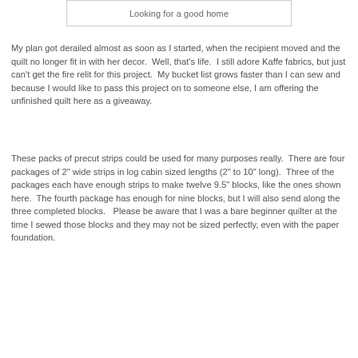Looking for a good home
My plan got derailed almost as soon as I started, when the recipient moved and the quilt no longer fit in with her decor.  Well, that's life.  I still adore Kaffe fabrics, but just can't get the fire relit for this project.  My bucket list grows faster than I can sew and because I would like to pass this project on to someone else, I am offering the unfinished quilt here as a giveaway.
These packs of precut strips could be used for many purposes really.  There are four packages of 2" wide strips in log cabin sized lengths (2" to 10" long).  Three of the packages each have enough strips to make twelve 9.5" blocks, like the ones shown here.  The fourth package has enough for nine blocks, but I will also send along the three completed blocks.   Please be aware that I was a bare beginner quilter at the time I sewed those blocks and they may not be sized perfectly, even with the paper foundation.